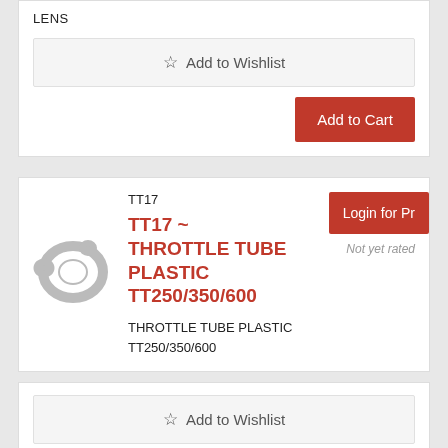LENS
☆ Add to Wishlist
Add to Cart
TT17
Login for Pr
Not yet rated
TT17 ~ THROTTLE TUBE PLASTIC TT250/350/600
THROTTLE TUBE PLASTIC TT250/350/600
☆ Add to Wishlist